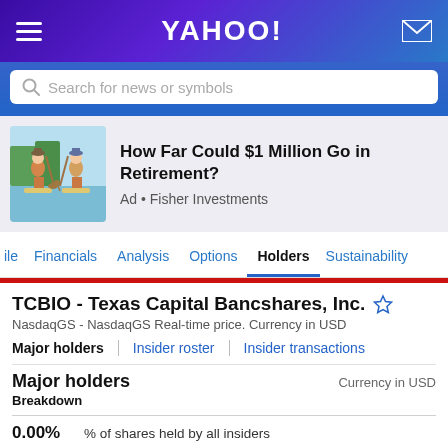YAHOO!
Search for news or symbols
[Figure (illustration): Two illustrated people paddleboarding with a dog, outdoor scene]
How Far Could $1 Million Go in Retirement? Ad • Fisher Investments
ile  Financials  Analysis  Options  Holders  Sustainability
TCBIO - Texas Capital Bancshares, Inc.
NasdaqGS - NasdaqGS Real-time price. Currency in USD
Major holders  Insider roster  Insider transactions
Major holders
Breakdown
Currency in USD
0.00%  % of shares held by all insiders